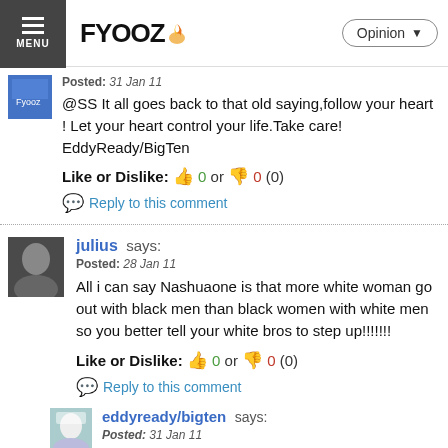FYOOZ — Opinion
Posted: 31 Jan 11
@SS It all goes back to that old saying,follow your heart ! Let your heart control your life.Take care! EddyReady/BigTen
Like or Dislike: 0 or 0 (0)
Reply to this comment
julius says:
Posted: 28 Jan 11
All i can say Nashuaone is that more white woman go out with black men than black women with white men so you better tell your white bros to step up!!!!!!!
Like or Dislike: 0 or 0 (0)
Reply to this comment
eddyready/bigten says:
Posted: 31 Jan 11